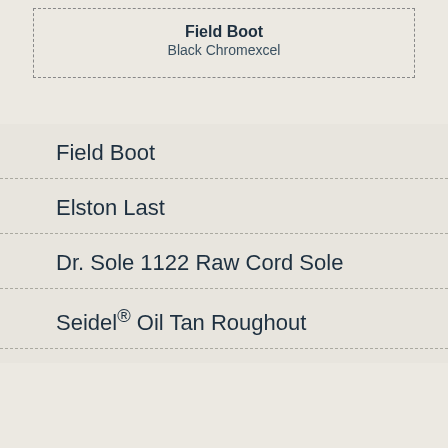Field Boot
Black Chromexcel
Field Boot
Elston Last
Dr. Sole 1122 Raw Cord Sole
Seidel® Oil Tan Roughout